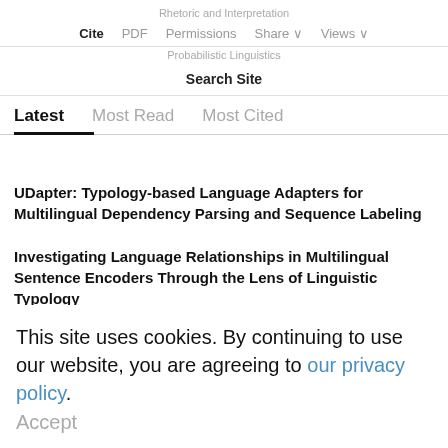Rhetoric and Interpretation
Cite  PDF  Permissions  Share  Views
Probabilistic Linguistics
Search Site
Latest  Most Read  Most Cited
UDapter: Typology-based Language Adapters for Multilingual Dependency Parsing and Sequence Labeling
Investigating Language Relationships in Multilingual Sentence Encoders Through the Lens of Linguistic Typology
Position Information in Transformers: An Overview
Survey of Low-Resource Machine Translation
This site uses cookies. By continuing to use our website, you are agreeing to our privacy policy. Accept